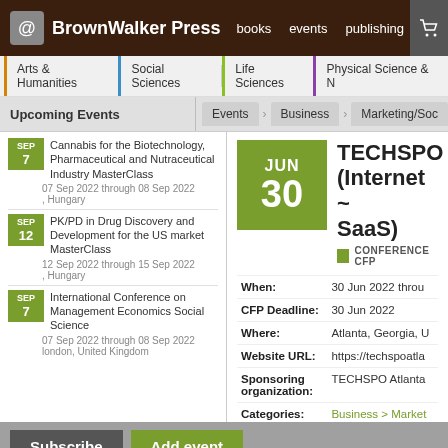BrownWalker Press — books  events  publishing
Arts & Humanities  Social Sciences  Life Sciences  Physical Science & N
Upcoming Events
Events  Business  Marketing/Soc
SEP 7 Cannabis for the Biotechnology, Pharmaceutical and Nutraceutical Industry MasterClass
07 Sep 2022 through 08 Sep 2022, Hungary
SEP 12 PK/PD in Drug Discovery and Development for the US market MasterClass
12 Sep 2022 through 15 Sep 2022, Hungary
SEP 7 International Conference on Management Economics Social Science
07 Sep 2022 through 08 Sep 2022, london, United Kingdom
TECHSPO (Internet ~ SaaS)
CONFERENCE CFP
| Field | Value |
| --- | --- |
| When: | 30 Jun 2022 throu |
| CFP Deadline: | 30 Jun 2022 |
| Where: | Atlanta, Georgia, U |
| Website URL: | https://techspoatla |
| Sponsoring organization: | TECHSPO Atlanta |
| Categories: | Business > Market |
Subscribe  Add event